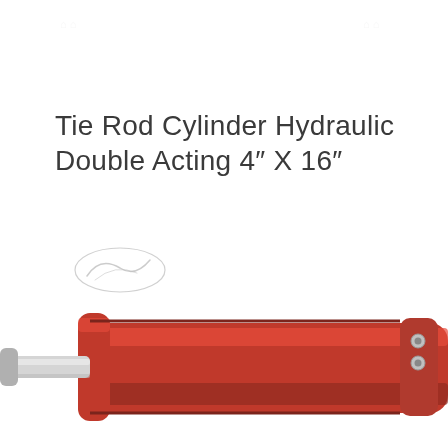Tie Rod Cylinder Hydraulic Double Acting 4″ X 16″
[Figure (logo): Faint cursive brand logo/watermark in light gray]
[Figure (photo): Red tie rod hydraulic double acting cylinder shown at an angle, partially visible at bottom of page]